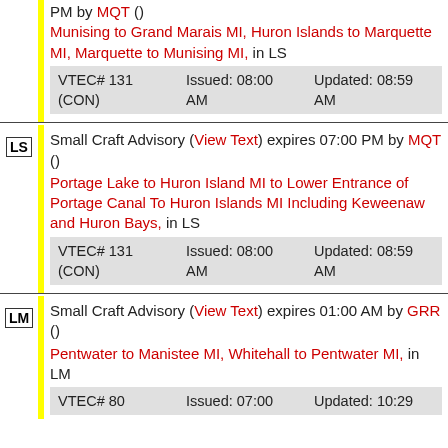PM by MQT () Munising to Grand Marais MI, Huron Islands to Marquette MI, Marquette to Munising MI, in LS VTEC# 131 (CON) Issued: 08:00 AM Updated: 08:59 AM
LS Small Craft Advisory (View Text) expires 07:00 PM by MQT () Portage Lake to Huron Island MI to Lower Entrance of Portage Canal To Huron Islands MI Including Keweenaw and Huron Bays, in LS VTEC# 131 (CON) Issued: 08:00 AM Updated: 08:59 AM
LM Small Craft Advisory (View Text) expires 01:00 AM by GRR () Pentwater to Manistee MI, Whitehall to Pentwater MI, in LM VTEC# 80 Issued: 07:00 Updated: 10:29